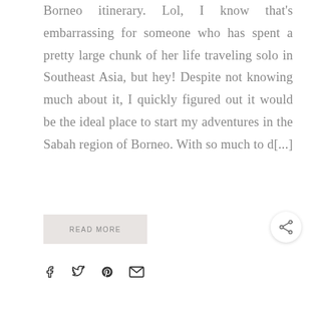Borneo itinerary. Lol, I know that's embarrassing for someone who has spent a pretty large chunk of her life traveling solo in Southeast Asia, but hey! Despite not knowing much about it, I quickly figured out it would be the ideal place to start my adventures in the Sabah region of Borneo. With so much to d[...]
READ MORE
[Figure (other): Social share icons: Facebook, Twitter, Pinterest, Email]